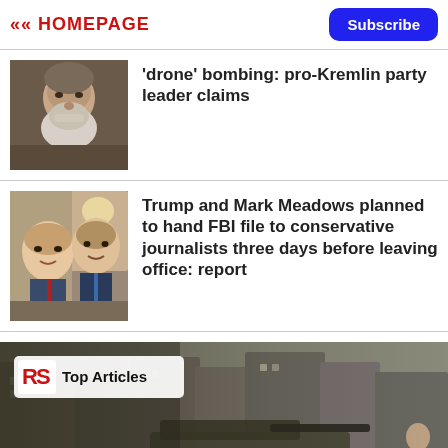<< HOMEPAGE | Subscribe
'drone' bombing: pro-Kremlin party leader claims
Trump and Mark Meadows planned to hand FBI file to conservative journalists three days before leaving office: report
[Figure (photo): Man with white beard, close-up portrait]
[Figure (photo): Trump and Mark Meadows selfie photo]
[Figure (photo): War scene with military tanks and city buildings, with Top Articles badge overlay and play button]